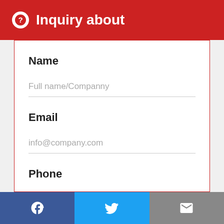Inquiry about
Name
Full name/Companny
Email
info@company.com
Phone
Full number country code
[Figure (infographic): Bottom social bar with Facebook, Twitter, and email icons]